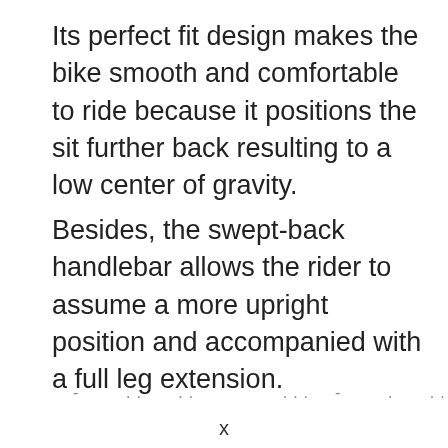Its perfect fit design makes the bike smooth and comfortable to ride because it positions the sit further back resulting to a low center of gravity.
Besides, the swept-back handlebar allows the rider to assume a more upright position and accompanied with a full leg extension.
. .. .. ... . . .. . .
x